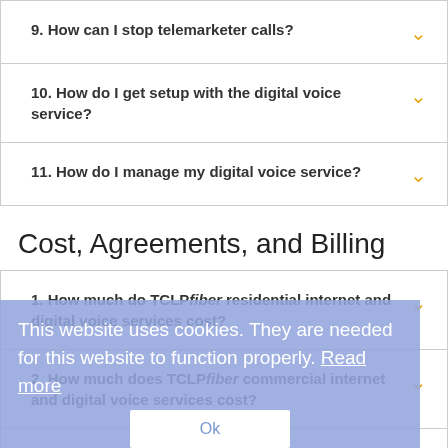9. How can I stop telemarketer calls?
10. How do I get setup with the digital voice service?
11. How do I manage my digital voice service?
Cost, Agreements, and Billing
1. How much do TCLPfiber residential internet and digital voice services cost?
2. How much does TCLPfiber commercial internet and digital voice services cost?
3. Am I signing a contract?
This website uses cookies. They are needed for this website to function properly. Read more
Ok